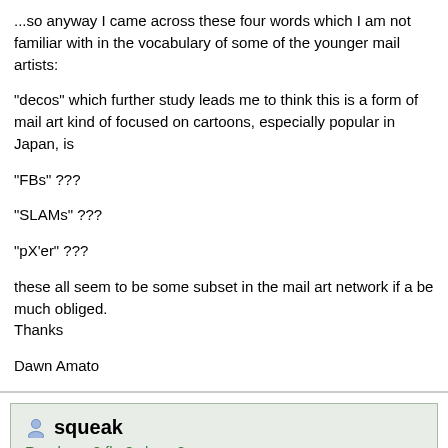...so anyway I came across these four words which I am not familiar with in the vocabulary of some of the younger mail artists:
"decos" which further study leads me to think this is a form of mail art kind of focused on cartoons, especially popular in Japan, is
"FBs" ???
"SLAMs" ???
"pX'er" ???
these all seem to be some subset in the mail art network if a be much obliged.
Thanks
Dawn Amato
squeak
Re: decos? fbs? slams?
February 02, 2004 07:23AM